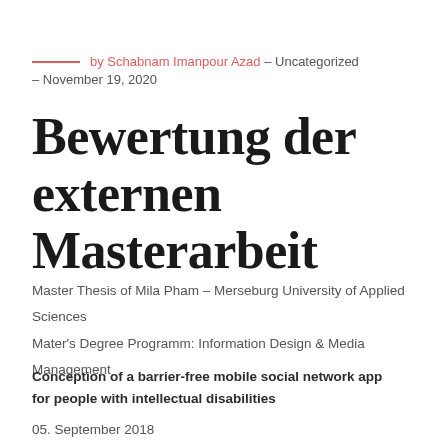by Schabnam Imanpour Azad – Uncategorized – November 19, 2020
Bewertung der externen Masterarbeit
Master Thesis of Mila Pham – Merseburg University of Applied Sciences
Mater's Degree Programm: Information Design & Media Management
Conception of a barrier-free mobile social network app for people with intellectual disabilities
05. September 2018